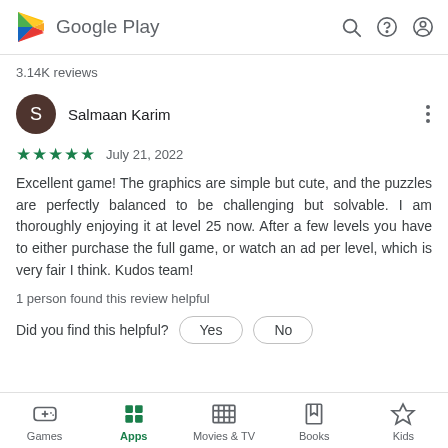Google Play
3.14K reviews
Salmaan Karim
★★★★★ July 21, 2022
Excellent game! The graphics are simple but cute, and the puzzles are perfectly balanced to be challenging but solvable. I am thoroughly enjoying it at level 25 now. After a few levels you have to either purchase the full game, or watch an ad per level, which is very fair I think. Kudos team!
1 person found this review helpful
Did you find this helpful?
Games  Apps  Movies & TV  Books  Kids